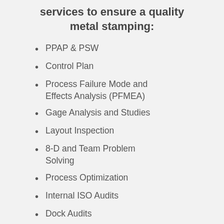services to ensure a quality metal stamping:
PPAP & PSW
Control Plan
Process Failure Mode and Effects Analysis (PFMEA)
Gage Analysis and Studies
Layout Inspection
8-D and Team Problem Solving
Process Optimization
Internal ISO Audits
Dock Audits
Statistical Process Control (SPC)